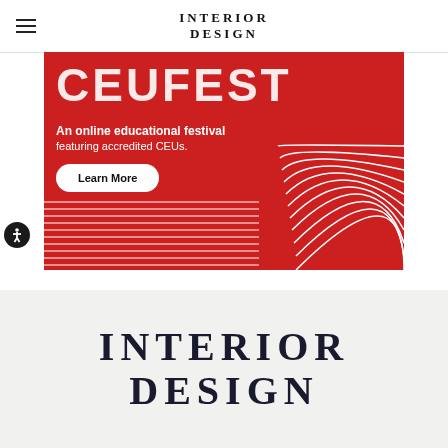INTERIOR DESIGN
[Figure (infographic): Red advertisement banner for CEU FEST - An online educational festival featuring accredited CEUs. Includes a Learn More button, decorative arch lines on the right, and horizontal stripe pattern at the bottom.]
[Figure (logo): Interior Design magazine logo in large serif font displayed in footer gray band]